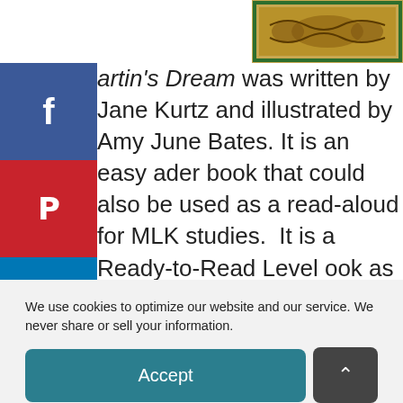[Figure (illustration): Book cover image showing decorative pattern border, positioned at top center-right of page]
Martin's Dream was written by Jane Kurtz and illustrated by Amy June Bates. It is an easy reader book that could also be used as a read-aloud for MLK studies. It is a Ready-to-Read Level book as it has repetition, familiar words, and simple sentences. There is a free work page at the blog post.
We use cookies to optimize our website and our service. We never share or sell your information.